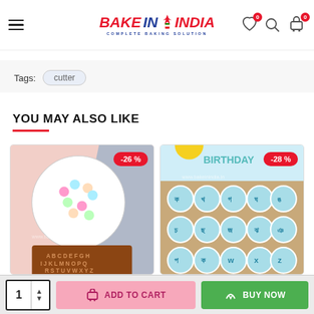BAKE IN INDIA - COMPLETE BAKING SOLUTION
Tags: cutter
YOU MAY ALSO LIKE
[Figure (photo): Product card showing alphabet silicone mould with -26% discount badge]
[Figure (photo): Product card showing letter stamp set with -28% discount badge and Happy Birthday decoration]
1 | ADD TO CART | BUY NOW